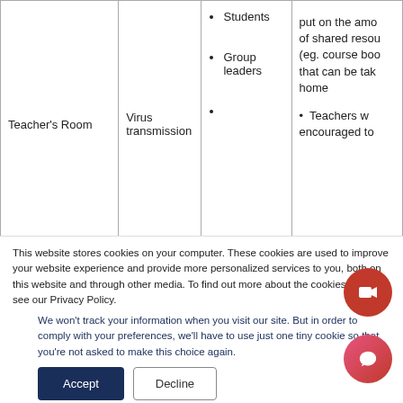| Location | Risk | Who | Measures |
| --- | --- | --- | --- |
| Teacher's Room | Virus transmission | • Students
• Group leaders
• | Limits whi...
put on the amo...
of shared resou...
(eg. course boo...
that can be tak...
home
• Teachers w...
encouraged to... |
This website stores cookies on your computer. These cookies are used to improve your website experience and provide more personalized services to you, both on this website and through other media. To find out more about the cookies we use, see our Privacy Policy.
We won't track your information when you visit our site. But in order to comply with your preferences, we'll have to use just one tiny cookie so that you're not asked to make this choice again.